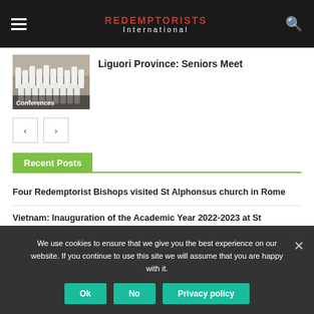REDEMPTORISTS International
[Figure (photo): Group photo of priests/men in white robes with label 'Conferences']
Liguori Province: Seniors Meet
Recent Posts
Four Redemptorist Bishops visited St Alphonsus church in Rome
Vietnam: Inauguration of the Academic Year 2022-2023 at St Alphonsus Theologate
We use cookies to ensure that we give you the best experience on our website. If you continue to use this site we will assume that you are happy with it.